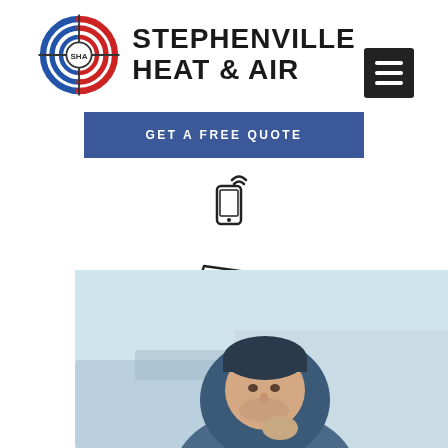[Figure (logo): Stephenville Heat & Air logo with SHA circular target-like emblem in red, white, and blue, alongside text 'STEPHENVILLE HEAT & AIR' and a hamburger menu icon]
[Figure (infographic): Blue button reading 'GET A FREE QUOTE', phone icon with wifi signal, paper airplane icon, Facebook icon, and Instagram icon]
[Figure (photo): Photo of a man wearing a blue hooded jacket and dark beanie, looking cold, with a winter/industrial background]